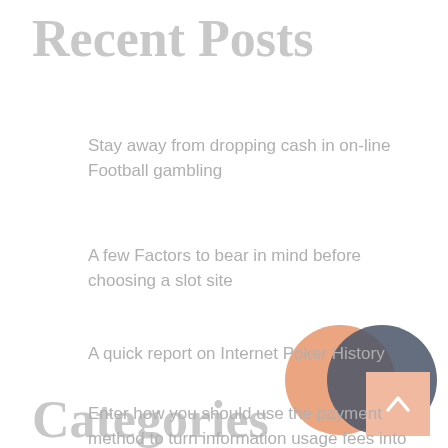Recent Posts
Stay away from dropping cash in on-line Football gambling
A few Factors to bear in mind before choosing a slot site
[Figure (other): Venn diagram with two overlapping circles: an orange circle on the left and a dark grey circle on the right, overlapping in the center]
A quick report on Internet Poker History
Enter how you should use the payment method to turn information usage fees into cash (정보이용료현금).
Which streaming service is best for my internet connection?
Categories